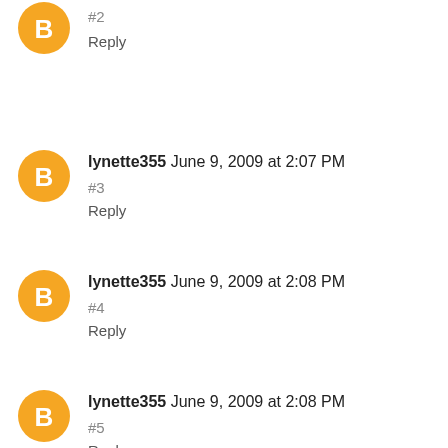#2
Reply
lynette355 June 9, 2009 at 2:07 PM
#3
Reply
lynette355 June 9, 2009 at 2:08 PM
#4
Reply
lynette355 June 9, 2009 at 2:08 PM
#5
Reply